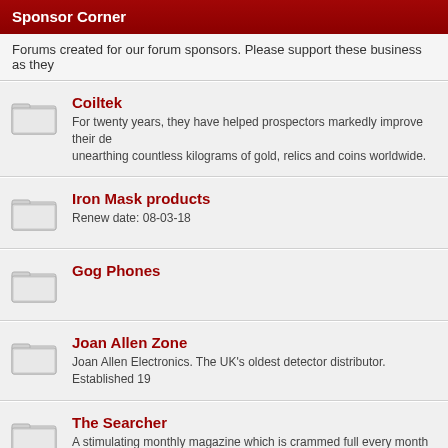Sponsor Corner
Forums created for our forum sponsors. Please support these business as they
Coiltek
For twenty years, they have helped prospectors markedly improve their de... unearthing countless kilograms of gold, relics and coins worldwide.
Iron Mask products
Renew date: 08-03-18
Gog Phones
Joan Allen Zone
Joan Allen Electronics. The UK's oldest detector distributor. Established 19
The Searcher
A stimulating monthly magazine which is crammed full every month with: h... collections, detailed articles about your finds, field tests and book reviews.
Special Offers
Sponsor Special Offers